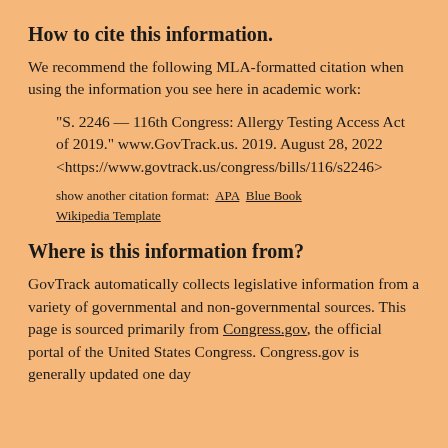How to cite this information.
We recommend the following MLA-formatted citation when using the information you see here in academic work:
“S. 2246 — 116th Congress: Allergy Testing Access Act of 2019.” www.GovTrack.us. 2019. August 28, 2022 <https://www.govtrack.us/congress/bills/116/s2246>
show another citation format:  APA  Blue Book  Wikipedia Template
Where is this information from?
GovTrack automatically collects legislative information from a variety of governmental and non-governmental sources. This page is sourced primarily from Congress.gov, the official portal of the United States Congress. Congress.gov is generally updated one day